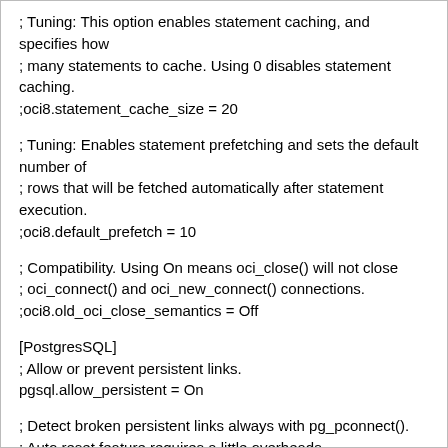; Tuning: This option enables statement caching, and specifies how
; many statements to cache. Using 0 disables statement caching.
;oci8.statement_cache_size = 20
; Tuning: Enables statement prefetching and sets the default number of
; rows that will be fetched automatically after statement execution.
;oci8.default_prefetch = 10
; Compatibility. Using On means oci_close() will not close
; oci_connect() and oci_new_connect() connections.
;oci8.old_oci_close_semantics = Off
[PostgresSQL]
; Allow or prevent persistent links.
pgsql.allow_persistent = On
; Detect broken persistent links always with pg_pconnect().
; Auto reset feature requires a little overheads.
pgsql.auto_reset_persistent = Off